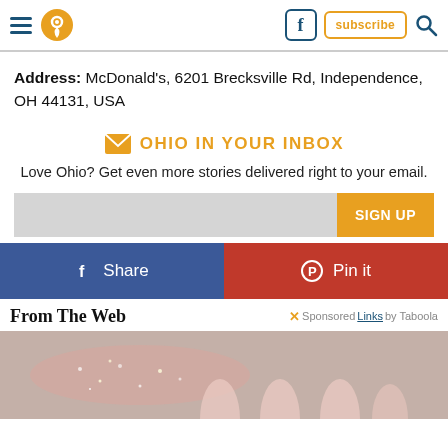Header navigation with hamburger menu, location pin, Facebook icon, subscribe button, search icon
Address: McDonald's, 6201 Brecksville Rd, Independence, OH 44131, USA
OHIO IN YOUR INBOX
Love Ohio? Get even more stories delivered right to your email.
SIGN UP
Share
Pin it
From The Web
Sponsored Links by Taboola
[Figure (photo): Close-up photo of fingers with sparkly/glitter nails and plain nails, against a light gray background]